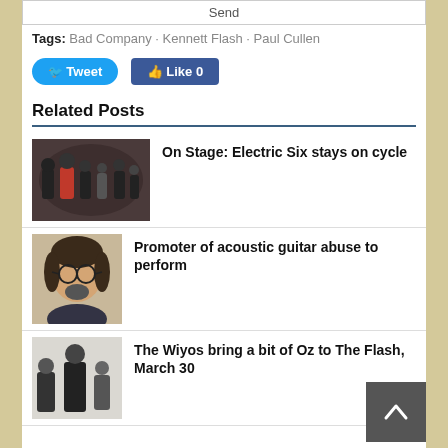Send
Tags: Bad Company · Kennett Flash · Paul Cullen
[Figure (other): Twitter Tweet button and Facebook Like 0 button]
Related Posts
[Figure (photo): Group photo of Electric Six band members]
On Stage: Electric Six stays on cycle
[Figure (photo): Portrait of a man with glasses and goatee]
Promoter of acoustic guitar abuse to perform
[Figure (photo): Photo of The Wiyos band members in black and white]
The Wiyos bring a bit of Oz to The Flash, March 30